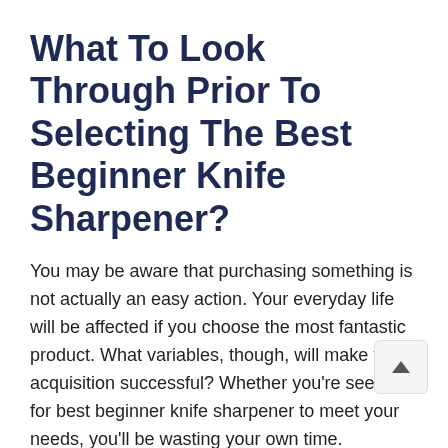What To Look Through Prior To Selecting The Best Beginner Knife Sharpener?
You may be aware that purchasing something is not actually an easy action. Your everyday life will be affected if you choose the most fantastic product. What variables, though, will make this acquisition successful? Whether you're seeking for best beginner knife sharpener to meet your needs, you'll be wasting your own time.
Nevertheless, it would be preferable if you weren't